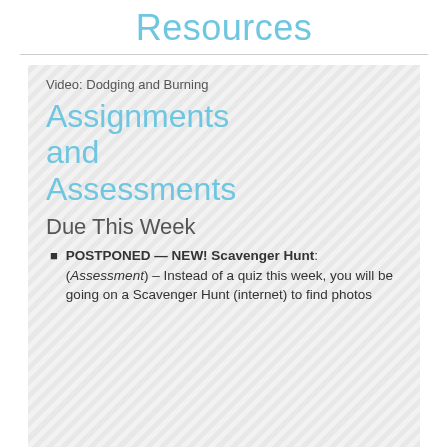Resources
Video: Dodging and Burning
Assignments and Assessments
Due This Week
POSTPONED — NEW! Scavenger Hunt: (Assessment) – Instead of a quiz this week, you will be going on a Scavenger Hunt (internet) to find photos